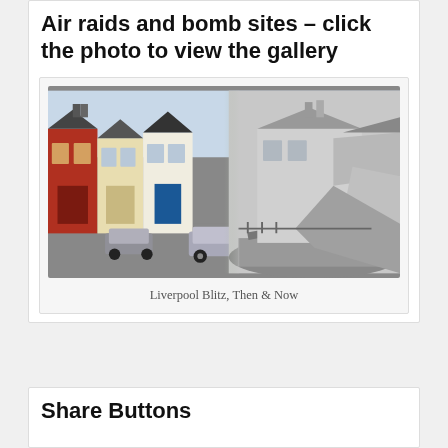Air raids and bomb sites – click the photo to view the gallery
[Figure (photo): Composite 'then and now' photograph showing a Liverpool street of terraced houses on the left (modern, in colour), merged with a wartime black-and-white image of bomb-damaged houses with rubble on the right. A modern car is parked on the street.]
Liverpool Blitz, Then & Now
Share Buttons